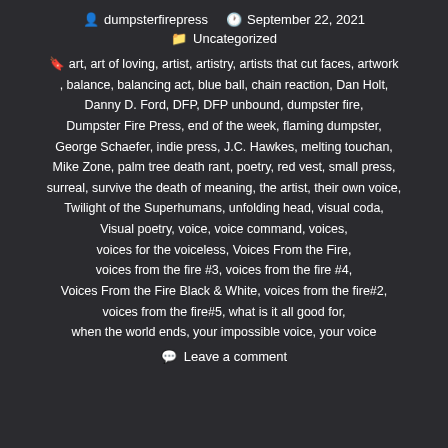dumpsterfirepress  September 22, 2021  Uncategorized
art, art of loving, artist, artistry, artists that cut faces, artwork, balance, balancing act, blue ball, chain reaction, Dan Holt, Danny D. Ford, DFP, DFP unbound, dumpster fire, Dumpster Fire Press, end of the week, flaming dumpster, George Schaefer, indie press, J.C. Hawkes, melting touchan, Mike Zone, palm tree death rant, poetry, red vest, small press, surreal, survive the death of meaning, the artist, their own voice, Twilight of the Superhumans, unfolding head, visual coda, Visual poetry, voice, voice command, voices, voices for the voiceless, Voices From the Fire, voices from the fire #3, voices from the fire #4, Voices From the Fire Black & White, voices from the fire#2, voices from the fire#5, what is it all good for, when the world ends, your impossible voice, your voice
Leave a comment